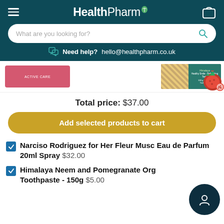HealthPharm
What are you looking for?
Need help?  hello@healthpharm.co.uk
[Figure (photo): Two product images: a pink product box on the left and a Himalaya Neem and Pomegranate toothpaste box with a pomegranate fruit on the right]
Total price: $37.00
Add selected products to cart
Narciso Rodriguez for Her Fleur Musc Eau de Parfum 20ml Spray  $32.00
Himalaya Neem and Pomegranate Organic Toothpaste - 150g  $5.00